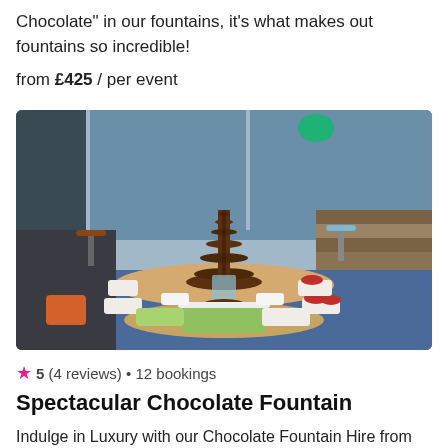Chocolate" in our fountains, it's what makes out fountains so incredible!
from £425 / per event
[Figure (photo): A tall multi-tiered chocolate fountain on a round wooden table surrounded by bowls of fruit and dipping items including grapes, strawberries, and marshmallows. The setting appears to be an indoor venue with blue carpeted steps and large windows in the background.]
★ 5 (4 reviews) • 12 bookings
Spectacular Chocolate Fountain
Indulge in Luxury with our Chocolate Fountain Hire from CR